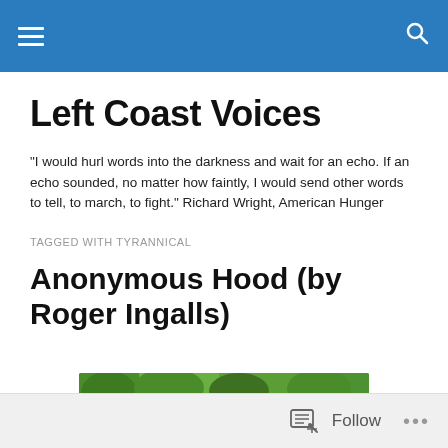Left Coast Voices — navigation bar
Left Coast Voices
"I would hurl words into the darkness and wait for an echo. If an echo sounded, no matter how faintly, I would send other words to tell, to march, to fight." Richard Wright, American Hunger
TAGGED WITH TYRANNICAL
Anonymous Hood (by Roger Ingalls)
[Figure (photo): Outdoor photo showing green trees above a brick wall with what appears to be a person or figure partially visible]
Follow